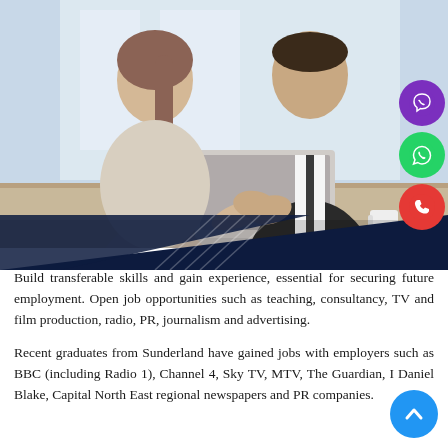[Figure (photo): Two people shaking hands across a desk with a laptop, in an office setting. A woman in a light top and a man in a dark suit.]
Build transferable skills and gain experience, essential for securing future employment. Open job opportunities such as teaching, consultancy, TV and film production, radio, PR, journalism and advertising.
Recent graduates from Sunderland have gained jobs with employers such as BBC (including Radio 1), Channel 4, Sky TV, MTV, The Guardian, I Daniel Blake, Capital North East regional newspapers and PR companies.